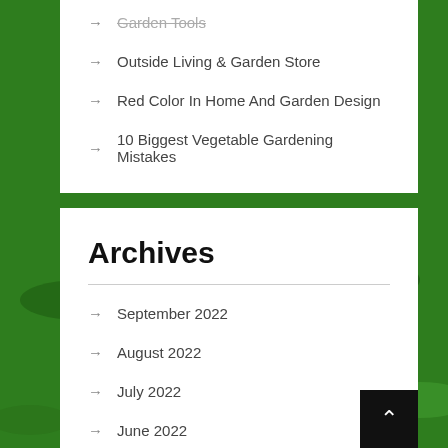Garden Tools
Outside Living & Garden Store
Red Color In Home And Garden Design
10 Biggest Vegetable Gardening Mistakes
Archives
September 2022
August 2022
July 2022
June 2022